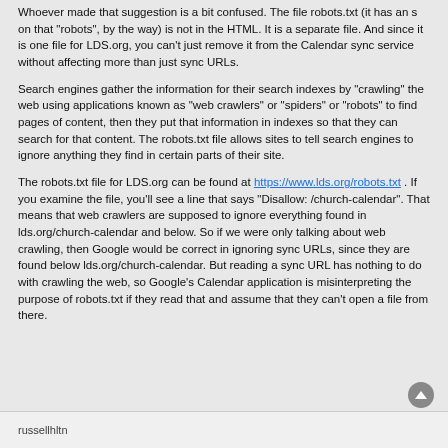Whoever made that suggestion is a bit confused. The file robots.txt (it has an s on that "robots", by the way) is not in the HTML. It is a separate file. And since it is one file for LDS.org, you can't just remove it from the Calendar sync service without affecting more than just sync URLs.
Search engines gather the information for their search indexes by "crawling" the web using applications known as "web crawlers" or "spiders" or "robots" to find pages of content, then they put that information in indexes so that they can search for that content. The robots.txt file allows sites to tell search engines to ignore anything they find in certain parts of their site.
The robots.txt file for LDS.org can be found at https://www.lds.org/robots.txt . If you examine the file, you'll see a line that says "Disallow: /church-calendar". That means that web crawlers are supposed to ignore everything found in lds.org/church-calendar and below. So if we were only talking about web crawling, then Google would be correct in ignoring sync URLs, since they are found below lds.org/church-calendar. But reading a sync URL has nothing to do with crawling the web, so Google's Calendar application is misinterpreting the purpose of robots.txt if they read that and assume that they can't open a file from there.
russellhltn